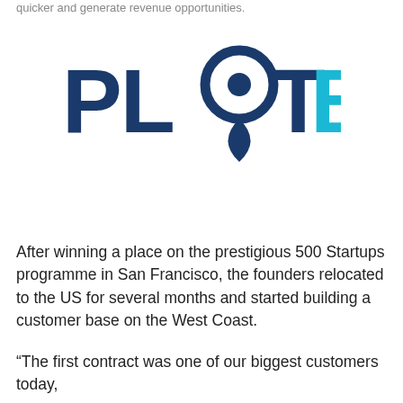quicker and generate revenue opportunities.
[Figure (logo): PlotBox logo: the word PLOT in dark navy blue with a map pin icon replacing the letter O (pin has a dot in the center), followed by BOX in cyan/light blue. Bold sans-serif font.]
After winning a place on the prestigious 500 Startups programme in San Francisco, the founders relocated to the US for several months and started building a customer base on the West Coast.
“The first contract was one of our biggest customers today,